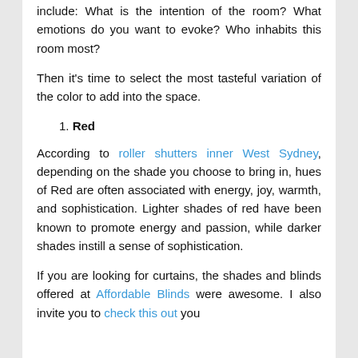include: What is the intention of the room? What emotions do you want to evoke? Who inhabits this room most?
Then it's time to select the most tasteful variation of the color to add into the space.
1. Red
According to roller shutters inner West Sydney, depending on the shade you choose to bring in, hues of Red are often associated with energy, joy, warmth, and sophistication. Lighter shades of red have been known to promote energy and passion, while darker shades instill a sense of sophistication.
If you are looking for curtains, the shades and blinds offered at Affordable Blinds were awesome. I also invite you to check this out you